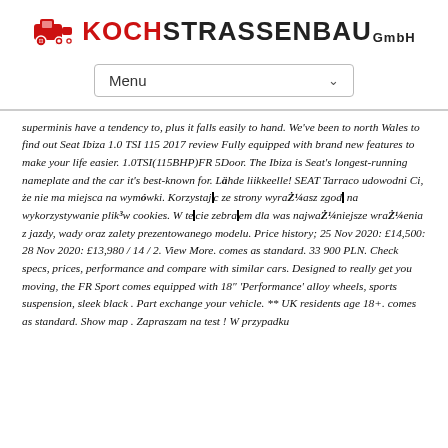KOCH STRASSENBAU GmbH
Menu
superminis have a tendency to, plus it falls easily to hand. We've been to north Wales to find out Seat Ibiza 1.0 TSI 115 2017 review Fully equipped with brand new features to make your life easier. 1.0TSI(115BHP)FR 5Door. The Ibiza is Seat's longest-running nameplate and the car it's best-known for. Lähde liikkeelle! SEAT Tarraco udowodni Ci, że nie ma miejsca na wymówki. Korzystając ze strony wyrażasz zgodę na wykorzystywanie plików cookies. W tekście zebrałem dla was najważniejsze wrażenia z jazdy, wady oraz zalety prezentowanego modelu. Price history; 25 Nov 2020: £14,500: 28 Nov 2020: £13,980 / 14 / 2. View More. comes as standard. 33 900 PLN. Check specs, prices, performance and compare with similar cars. Designed to really get you moving, the FR Sport comes equipped with 18" 'Performance' alloy wheels, sports suspension, sleek black . Part exchange your vehicle. ** UK residents age 18+. comes as standard. Show map . Zapraszam na test ! W przypadku